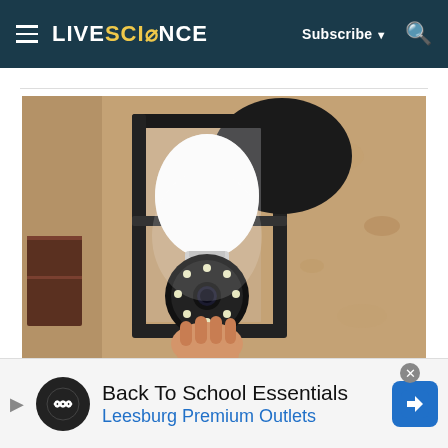LIVESCIENCE  Subscribe  🔍
[Figure (photo): A hand screwing in a white smart camera light bulb into a black lantern-style outdoor wall fixture mounted on a textured stucco wall. The camera has a circular lens with LED ring at the bottom of the bulb.]
Homeowners Are Trading In Their Doorbell Cam For This
Back To School Essentials
Leesburg Premium Outlets